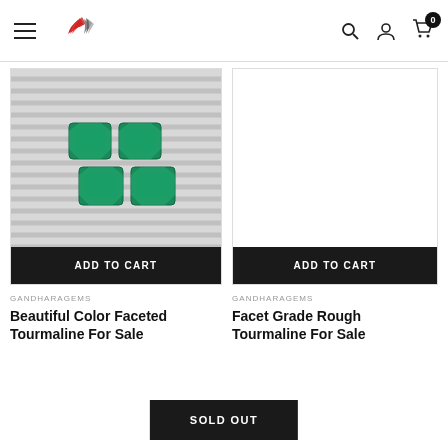Navigation bar with hamburger menu, logo, search, account, and cart (0) icons
[Figure (photo): Four green faceted tourmaline gemstones arranged in 2x2 grid on striped background]
ADD TO CART
GANDHARAGEMS
Beautiful Color Faceted Tourmaline For Sale
[Figure (photo): Empty white product image area for Facet Grade Rough Tourmaline]
ADD TO CART
GANDHARAGEMS
Facet Grade Rough Tourmaline For Sale
SOLD OUT